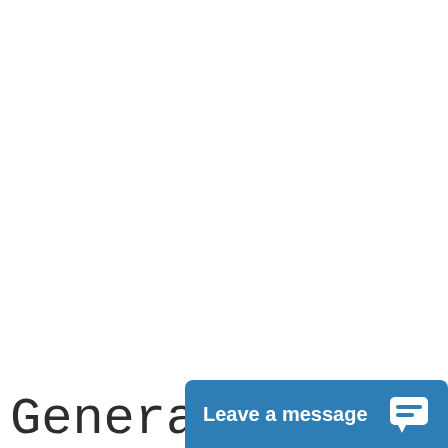Generating
[Figure (other): Live chat widget button with 'Leave a message' label and chat bubble icon on a blue background, positioned at the bottom right of the page]